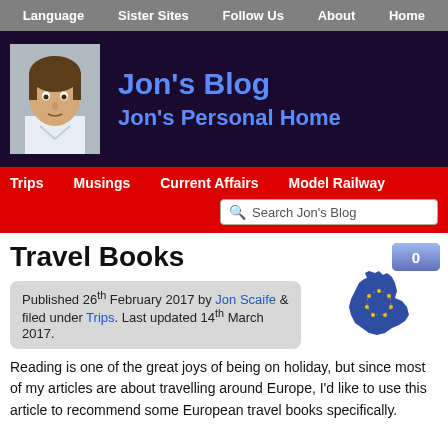Language | Sister Sites | Follow Us | About | Home
Jon's Blog — Jon's Personal Home
Trips | Musings | Current Affairs | Model Railway | Search Jon's Blog
Travel Books
[Figure (photo): Europe map with comment count badge showing 0]
Published 26th February 2017 by Jon Scaife & filed under Trips. Last updated 14th March 2017.
Reading is one of the great joys of being on holiday, but since most of my articles are about travelling around Europe, I'd like to use this article to recommend some European travel books specifically.